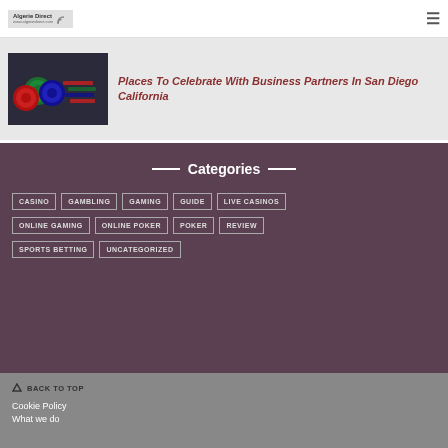Algerie Direct
[Figure (photo): Casino chips photo thumbnail]
Places To Celebrate With Business Partners In San Diego California
Categories
CASINO
GAMBLING
GAMING
GUIDE
LIVE CASINOS
ONLINE GAMING
ONLINE POKER
POKER
REVIEW
SPORTS BETTING
UNCATEGORIZED
BACK TO TOP
Cookie Policy
What we do